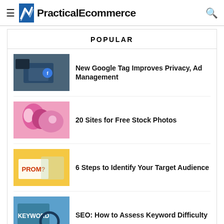PracticalEcommerce
POPULAR
New Google Tag Improves Privacy, Ad Management
20 Sites for Free Stock Photos
6 Steps to Identify Your Target Audience
SEO: How to Assess Keyword Difficulty
Charts: Retail Banking Trends 2022
SEO for Animated GIFs